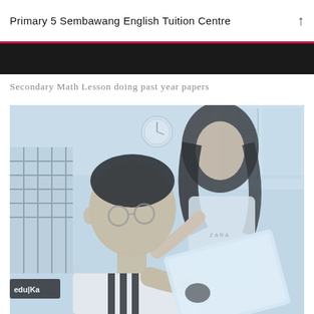Primary 5 Sembawang English Tuition Centre
Secondary Math Lesson doing past year papers
[Figure (photo): Two secondary school students studying together. A boy in a black-and-white striped sports jacket wearing glasses holds up a paper/laptop, while a girl with long hair stands behind him looking on. The setting appears to be a classroom or study area with windows and a clock visible in the background. There is an 'edu|Ka' label visible in the lower left. The image has a cool, slightly desaturated blue-white tone.]